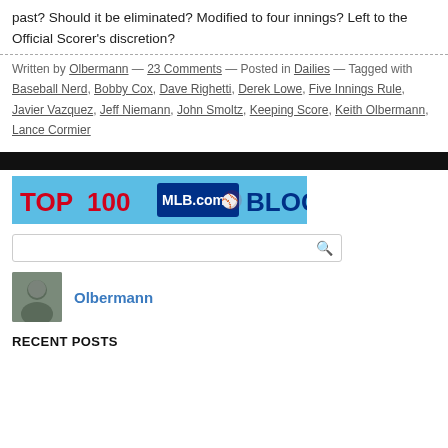past? Should it be eliminated? Modified to four innings? Left to the Official Scorer's discretion?
Written by Olbermann — 23 Comments — Posted in Dailies — Tagged with Baseball Nerd, Bobby Cox, Dave Righetti, Derek Lowe, Five Innings Rule, Javier Vazquez, Jeff Niemann, John Smoltz, Keeping Score, Keith Olbermann, Lance Cormier
[Figure (other): Black horizontal bar divider]
[Figure (other): Top 100 MLB.com Blogs banner with red text TOP 100, MLB.com logo with baseball player silhouette, and blue BLOGS text on light blue background]
[Figure (other): Search input box with magnifying glass icon]
[Figure (photo): Small square photo of Olbermann author avatar]
Olbermann
RECENT POSTS